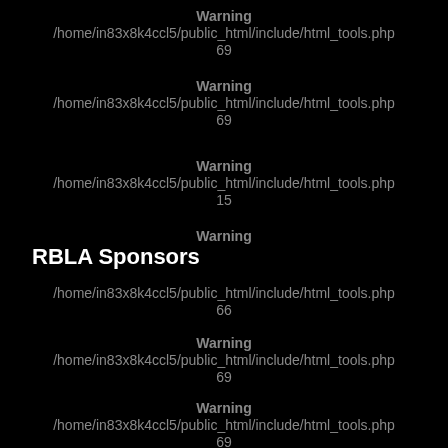Warning
/home/in83x8k4ccl5/public_html/include/html_tools.php
69
Warning
/home/in83x8k4ccl5/public_html/include/html_tools.php
69
Warning
/home/in83x8k4ccl5/public_html/include/html_tools.php
15
Warning
RBLA Sponsors
/home/in83x8k4ccl5/public_html/include/html_tools.php
66
Warning
/home/in83x8k4ccl5/public_html/include/html_tools.php
69
Warning
/home/in83x8k4ccl5/public_html/include/html_tools.php
69